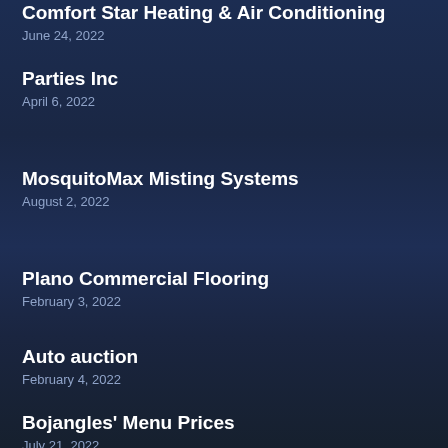Comfort Star Heating & Air Conditioning
June 24, 2022
Parties Inc
April 6, 2022
MosquitoMax Misting Systems
August 2, 2022
Plano Commercial Flooring
February 3, 2022
Auto auction
February 4, 2022
Bojangles' Menu Prices
July 21, 2022